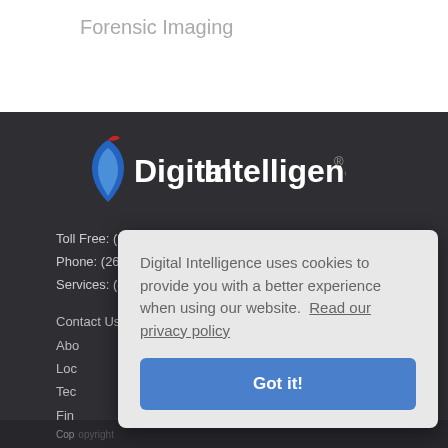Forensic Imaging
[Figure (logo): Digital Intelligence logo with blue shield/flame icon and red accent mark, white text on dark background]
Toll Free: (866) DIGINTEL / (866) 344-4683
Phone: (262) 782-3332   Fax: (262) 782-3331
Services: (414) 404-8800
Contact Us
About
Locations
Technology
Find a Reseller
Privacy Policy
[Figure (logo): Twitter bird icon in white on blue square button]
Digital Intelligence uses cookies to provide you with a better experience when using our website.  Read our privacy policy
Got it!
Copyright ...